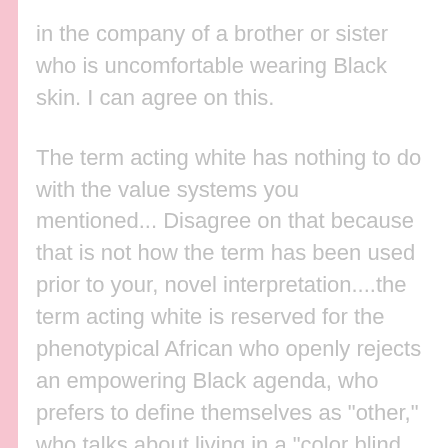in the company of a brother or sister who is uncomfortable wearing Black skin. I can agree on this.
The term acting white has nothing to do with the value systems you mentioned... Disagree on that because that is not how the term has been used prior to your, novel interpretation....the term acting white is reserved for the phenotypical African who openly rejects an empowering Black agenda, who prefers to define themselves as "other," who talks about living in a "color blind society" - and many, many, more types of anti-Black, anti African behavior. Shango, you should really stop talking about Justic Thomas and Secretary of State Rice like that,,